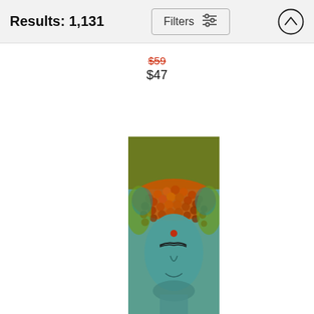Results: 1,131 | Filters
$59 (strikethrough) $47
[Figure (photo): Colorized Buddha head statue with psychedelic orange, green, and teal tones. The upper portion shows a solid olive/green background rectangle. The face has closed eyes and a red dot on forehead.]